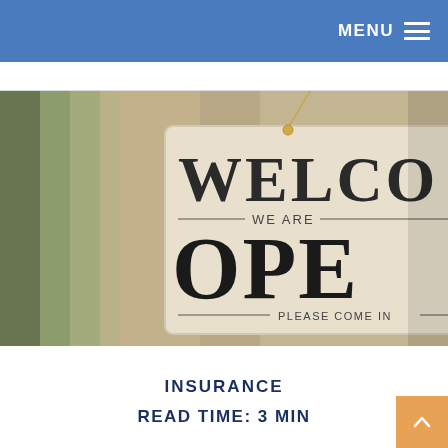MENU
[Figure (photo): A wooden 'Welcome We Are Open Please Come In' sign hanging against a blurred background, viewed close-up.]
INSURANCE
READ TIME: 3 MIN